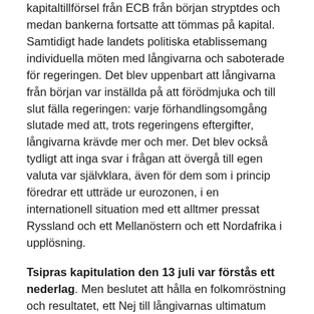kapitaltillförsel från ECB från början stryptdes och medan bankerna fortsatte att tömmas på kapital. Samtidigt hade landets politiska etablissemang individuella möten med långivarna och saboterade för regeringen. Det blev uppenbart att långivarna från början var inställda på att förödmjuka och till slut fälla regeringen: varje förhandlingsomgång slutade med att, trots regeringens eftergifter, långivarna krävde mer och mer. Det blev också tydligt att inga svar i frågan att övergå till egen valuta var självklara, även för dem som i princip föredrar ett utträde ur eurozonen, i en internationell situation med ett alltmer pressat Ryssland och ett Mellanöstern och ett Nordafrika i upplösning.
Tsipras kapitulation den 13 juli var förstås ett nederlag. Men beslutet att hålla en folkomröstning och resultatet, ett Nej till långivarnas ultimatum och stöd för regeringen, är någonting som kommer att stanna hos folket. Tsipras och hans första regering har också lyckats avslöja för hela världen vilka krafter man kämpar mot, vem som är fienden och vad kampen gäller. Samtidigt har en stor del av befolkningen genom Syriza och genom folkomröstningen radikaliserats.
Även om premiärministern har gått med på att ta igenom parlamentet de preliminära kraven för avtalet så är ingenting